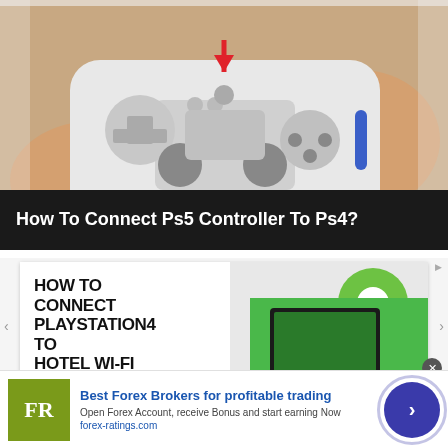[Figure (photo): Close-up photo of hands holding a white PS5 DualSense controller, with a red arrow pointing to the controller. The controller shows the d-pad on the left side and face buttons on the right.]
How To Connect Ps5 Controller To Ps4?
[Figure (screenshot): A web article card showing text 'HOW TO CONNECT PLAYSTATION4 TO HOTEL WI-FI' on the left with a green circle logo and an image of hands holding a game controller near a TV screen on the right.]
[Figure (infographic): Advertisement banner for forex-ratings.com showing FR logo in olive/green square, text 'Best Forex Brokers for profitable trading', subtext 'Open Forex Account, receive Bonus and start earning Now', URL 'forex-ratings.com', and a dark blue circular button with right arrow.]